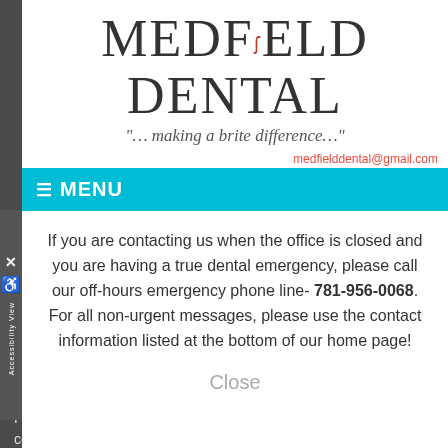[Figure (logo): Medfield Dental logo with stylized F and tagline]
medfielddental@gmail.com
≡ MENU
If you are contacting us when the office is closed and you are having a true dental emergency, please call our off-hours emergency phone line- 781-956-0068. For all non-urgent messages, please use the contact information listed at the bottom of our home page!
Close
Patients with In-Network insurance are also typically eligible for contractual fee reductions which would lesson the cost of most procedures. If you are unsure whether we are In-